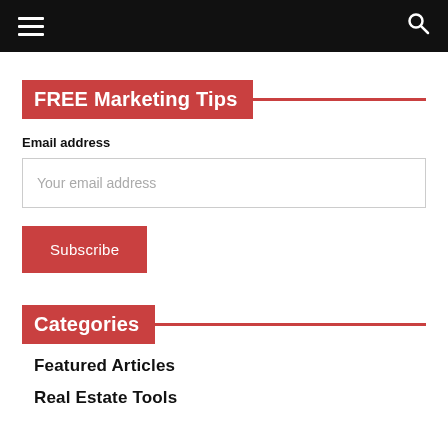[navigation bar with hamburger menu and search icon]
FREE Marketing Tips
Email address
Your email address
Subscribe
Categories
Featured Articles
Real Estate Tools